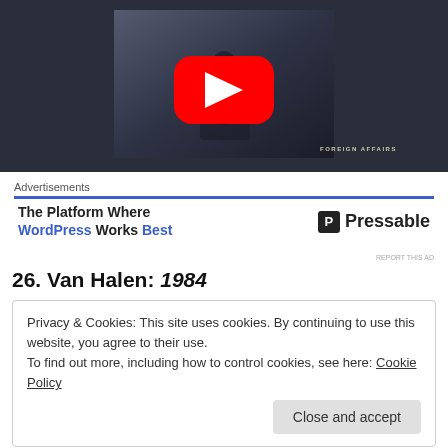[Figure (screenshot): YouTube video thumbnail showing an album cover 'Foreign Affairs' with a person sitting on steps holding a guitar, overlaid with a large red YouTube play button. Dark background.]
Advertisements
[Figure (screenshot): Advertisement banner: 'The Platform Where WordPress Works Best' with Pressable logo on the right.]
26. Van Halen: 1984
Privacy & Cookies: This site uses cookies. By continuing to use this website, you agree to their use.
To find out more, including how to control cookies, see here: Cookie Policy
Close and accept